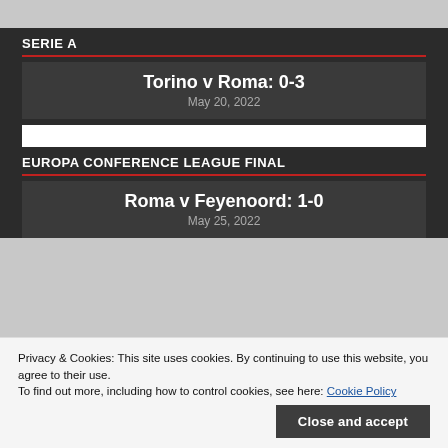SERIE A
Torino v Roma: 0-3
May 20, 2022
EUROPA CONFERENCE LEAGUE FINAL
Roma v Feyenoord: 1-0
May 25, 2022
Privacy & Cookies: This site uses cookies. By continuing to use this website, you agree to their use.
To find out more, including how to control cookies, see here: Cookie Policy
Close and accept